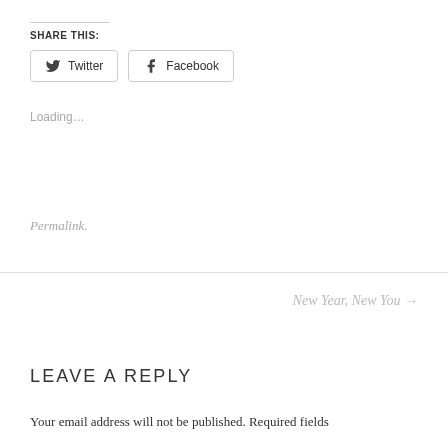SHARE THIS:
Twitter  Facebook
Loading...
Permalink.
New Year, New You →
LEAVE A REPLY
Your email address will not be published. Required fields